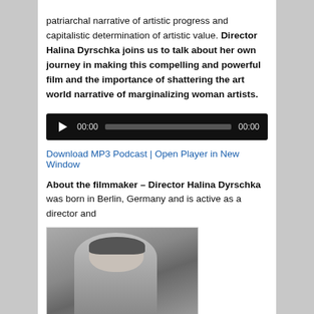patriarchal narrative of artistic progress and capitalistic determination of artistic value. Director Halina Dyrschka joins us to talk about her own journey in making this compelling and powerful film and the importance of shattering the art world narrative of marginalizing woman artists.
[Figure (screenshot): Audio player widget with dark background, play button, timecode 00:00, progress bar, and end timecode 00:00]
Download MP3 Podcast | Open Player in New Window
About the filmmaker – Director Halina Dyrschka was born in Berlin, Germany and is active as a director and
[Figure (photo): Black and white portrait photograph of Halina Dyrschka outdoors with trees in background]